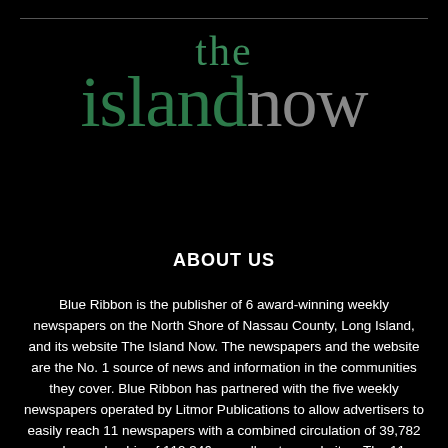[Figure (logo): The Island Now logo — 'the' in green above 'island' in green and 'now' in gray, large serif typeface on black background]
ABOUT US
Blue Ribbon is the publisher of 6 award-winning weekly newspapers on the North Shore of Nassau County, Long Island, and its website The Island Now. The newspapers and the website are the No. 1 source of news and information in the communities they cover. Blue Ribbon has partnered with the five weekly newspapers operated by Litmor Publications to allow advertisers to easily reach 11 newspapers with a combined circulation of 39,782 and a readership of 119,346 as well as two websites. The 11 newspapers in the Blue Ribbon